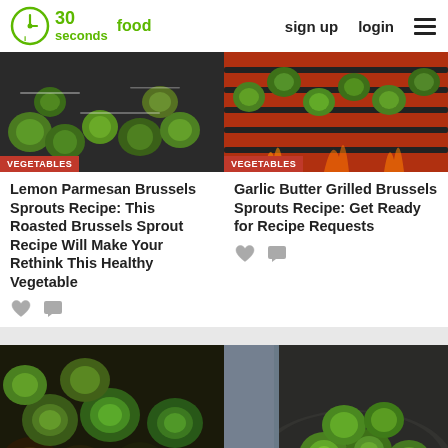30 seconds food — sign up   login
[Figure (photo): Roasted Brussels sprouts on a dark pan with parmesan, overhead view]
VEGETABLES
[Figure (photo): Grilled Brussels sprouts on a grill grate with flames visible]
VEGETABLES
Lemon Parmesan Brussels Sprouts Recipe: This Roasted Brussels Sprout Recipe Will Make Your Rethink This Healthy Vegetable
Garlic Butter Grilled Brussels Sprouts Recipe: Get Ready for Recipe Requests
[Figure (photo): Brussels sprouts roasted with caramelized edges on a sheet pan]
[Figure (photo): Brussels sprouts in a dark skillet pan, sautéed]